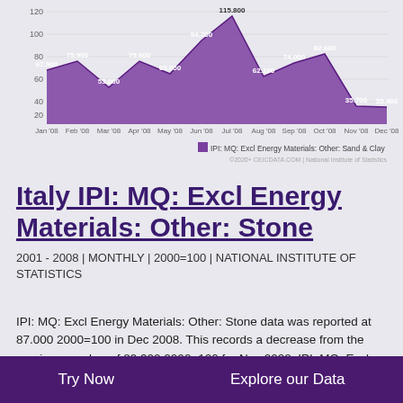[Figure (area-chart): IPI: MQ: Excl Energy Materials: Other: Sand & Clay]
Italy IPI: MQ: Excl Energy Materials: Other: Stone
2001 - 2008 | MONTHLY | 2000=100 | NATIONAL INSTITUTE OF STATISTICS
IPI: MQ: Excl Energy Materials: Other: Stone data was reported at 87.000 2000=100 in Dec 2008. This records a decrease from the previous number of 89.300 2000=100 for Nov 2008. IPI: MQ: Excl Energy Materials: Other: Stone data is updated
Try Now   Explore our Data